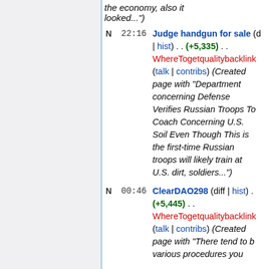the economy, also it looked...")
N 22:16 Judge handgun for sale (diff | hist) . . (+5,335) . . WhereTogetqualitybacklinks (talk | contribs) (Created page with "Department concerning Defense Verifies Russian Troops To Coach Concerning U.S. Soil Even Though This is the first-time Russian troops will likely train at U.S. dirt, soldiers...")
N 00:46 ClearDAO298 (diff | hist) . . (+5,445) . . WhereTogetqualitybacklinks (talk | contribs) (Created page with "There tend to be various procedures you